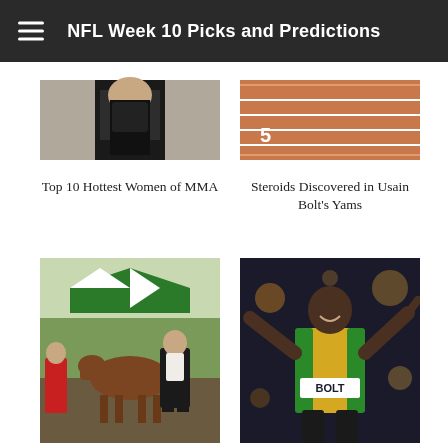NFL Week 10 Picks and Predictions
[Figure (photo): Partial view of a woman in black athletic wear (MMA related)]
Top 10 Hottest Women of MMA
[Figure (photo): Running track lanes viewed from above]
Steroids Discovered in Usain Bolt's Yams
[Figure (photo): Man in black suit walking near a brown horse at an outdoor event with green and white striped tent]
Victor Conte of Horse Racing Suspended for Clenbuterol
[Figure (photo): Usain Bolt celebrating in yellow and green Jamaica sprint uniform at the Olympics, pointing gesture]
Usain Bolt 100m Record